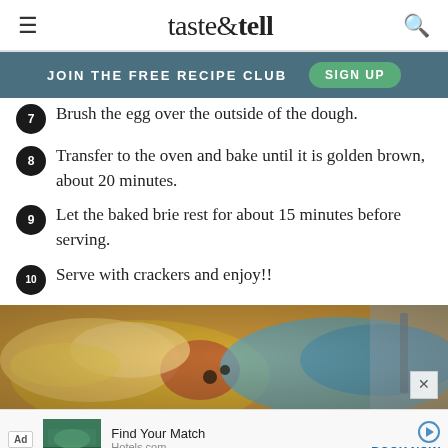taste & tell
JOIN THE FREE RECIPE CLUB  SIGN UP
7  Brush the egg over the outside of the dough.
8  Transfer to the oven and bake until it is golden brown, about 20 minutes.
9  Let the baked brie rest for about 15 minutes before serving.
10  Serve with crackers and enjoy!!
[Figure (photo): Photo of baked brie in a blue dish, golden pastry crust visible]
Ad  Find Your Match  Hotels.com  BOOK NOW